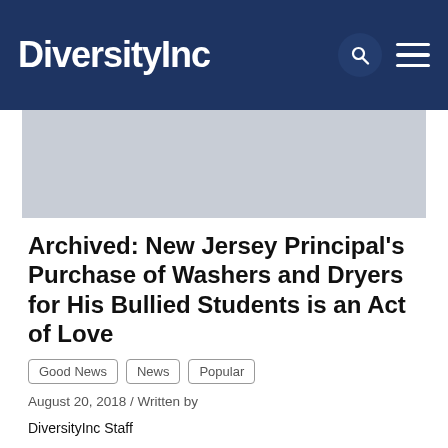DiversityInc
[Figure (other): Advertisement placeholder, light gray rectangle]
Archived: New Jersey Principal's Purchase of Washers and Dryers for His Bullied Students is an Act of Love
Good News   News   Popular   August 20, 2018 / Written by DiversityInc Staff
Akbar Cook is the principal of West Side High School in Newark, New Jersey and he takes his job and responsibilities as an educator and administrator seriously. In a school where 81% of the students come from low-income homes, it isn't difficult for a